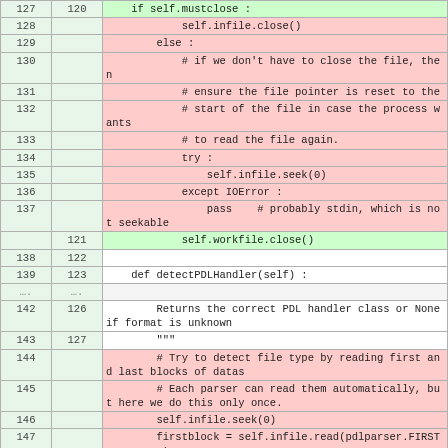| Left# | Right# | Code |
| --- | --- | --- |
| 127 | 120 |     if self.mustclose : |
| 128 |  |             self.infile.close() |
| 129 |  |         else : |
| 130 |  |             # if we don't have to close the file, then |
| 131 |  |             # ensure the file pointer is reset to the |
| 132 |  |             # start of the file in case the process wants |
| 133 |  |             # to read the file again. |
| 134 |  |             try : |
| 135 |  |                 self.infile.seek(0) |
| 136 |  |             except IOError : |
| 137 |  |                 pass    # probably stdin, which is not seekable |
|  | 121 |             self.workfile.close() |
| 138 | 122 |  |
| 139 | 123 |     def detectPDLHandler(self) : |
| .... | .... |  |
| 142 | 126 |         Returns the correct PDL handler class or None if format is unknown |
| 143 | 127 |         """ |
| 144 |  |         # Try to detect file type by reading first and last blocks of datas |
| 145 |  |         # Each parser can read them automatically, but here we do this only once. |
| 146 |  |         self.infile.seek(0) |
| 147 |  |         firstblock =
        self.infile.read(pdlparser.FIRSTBLOCKSIZE) |
| 148 |  |         try : |
| 149 |  |             self.infile.seek(-pdlparser.LASTBLOCKSIZE, 2) |
| 150 |  |         lastblock = |